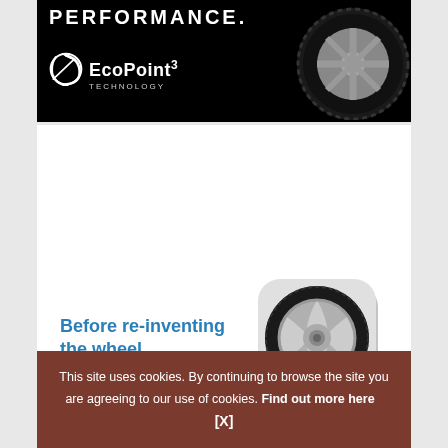[Figure (advertisement): Black background advertisement banner for Falken Tires EcoPoint3 Technology. Shows 'PERFORMANCE.' text in white, EcoPoint3 Technology logo with circular arrow symbol, and a high-performance tire image on the right.]
[Figure (illustration): Silver alloy wheel/rim with tire, shown from front, with rounded square shadow, representing a stylized car wheel icon.]
Before re-inventing the wheel...
This site uses cookies. By continuing to browse the site you are agreeing to our use of cookies. Find out more here [X]